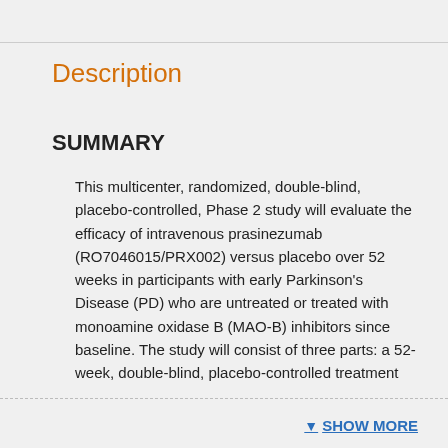Description
SUMMARY
This multicenter, randomized, double-blind, placebo-controlled, Phase 2 study will evaluate the efficacy of intravenous prasinezumab (RO7046015/PRX002) versus placebo over 52 weeks in participants with early Parkinson's Disease (PD) who are untreated or treated with monoamine oxidase B (MAO-B) inhibitors since baseline. The study will consist of three parts: a 52-week, double-blind, placebo-controlled treatment
SHOW MORE